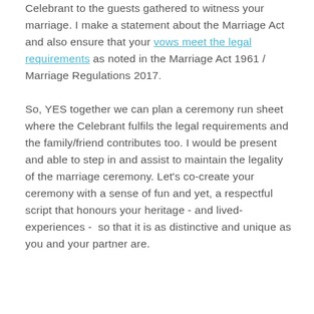Celebrant to the guests gathered to witness your marriage. I make a statement about the Marriage Act and also ensure that your vows meet the legal requirements as noted in the Marriage Act 1961 / Marriage Regulations 2017.

So, YES together we can plan a ceremony run sheet where the Celebrant fulfils the legal requirements and the family/friend contributes too. I would be present and able to step in and assist to maintain the legality of the marriage ceremony. Let's co-create your ceremony with a sense of fun and yet, a respectful script that honours your heritage - and lived-experiences -  so that it is as distinctive and unique as you and your partner are.